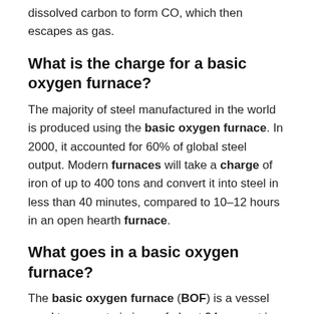dissolved carbon to form CO, which then escapes as gas.
What is the charge for a basic oxygen furnace?
The majority of steel manufactured in the world is produced using the basic oxygen furnace. In 2000, it accounted for 60% of global steel output. Modern furnaces will take a charge of iron of up to 400 tons and convert it into steel in less than 40 minutes, compared to 10–12 hours in an open hearth furnace.
What goes in a basic oxygen furnace?
The basic oxygen furnace (BOF) is a vessel used to convert pig iron, of about 94 percent iron